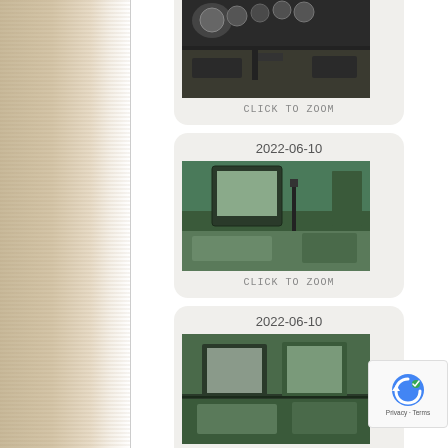[Figure (photo): Left decorative sidebar with tan/beige woven texture pattern]
[Figure (photo): Aircraft cockpit instrument panel photo thumbnail with date 2022-06-10 and CLICK TO ZOOM label]
[Figure (photo): Aircraft seat interior photo thumbnail with date 2022-06-10 and CLICK TO ZOOM label]
[Figure (photo): Aircraft interior cabin photo thumbnail with date 2022-06-10 and CLICK TO ZOOM label]
[Figure (photo): Aircraft floor/cargo area photo thumbnail with date 2022-06-10 and CLICK TO ZOOM label]
2022-06-10
[Figure (logo): Google reCAPTCHA badge with Privacy and Terms text]